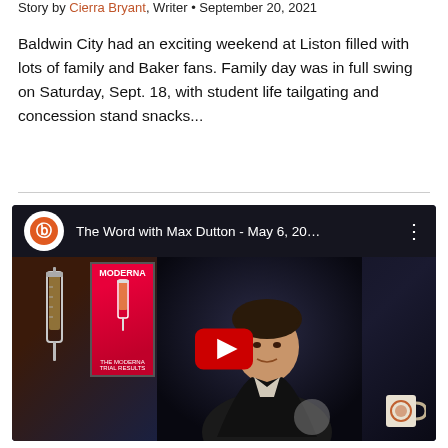Story by Cierra Bryant, Writer • September 20, 2021
Baldwin City had an exciting weekend at Liston filled with lots of family and Baker fans. Family day was in full swing on Saturday, Sept. 18, with student life tailgating and concession stand snacks...
[Figure (screenshot): Embedded YouTube video thumbnail showing 'The Word with Max Dutton - May 6, 20...' with a person in a dark jacket, Moderna vaccine posters on the left, and a red YouTube play button in the center.]